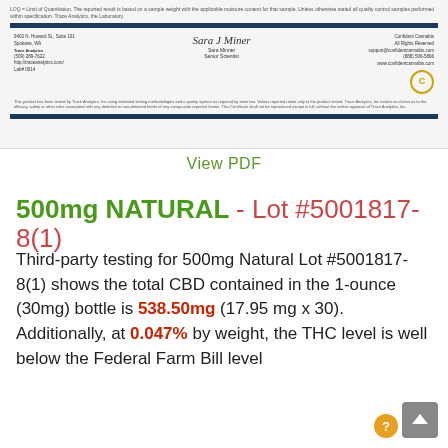[Figure (other): Scanned lab certificate footer showing LOD text, dark header bar, address/signature/contact info section, disclaimer text, and dark footer bar with Confident Cannabis branding and stamp]
View PDF
500mg NATURAL - Lot #5001817-8(1)
Third-party testing for 500mg Natural Lot #5001817-8(1) shows the total CBD contained in the 1-ounce (30mg) bottle is 538.50mg (17.95 mg x 30). Additionally, at 0.047% by weight, the THC level is well below the Federal Farm Bill level